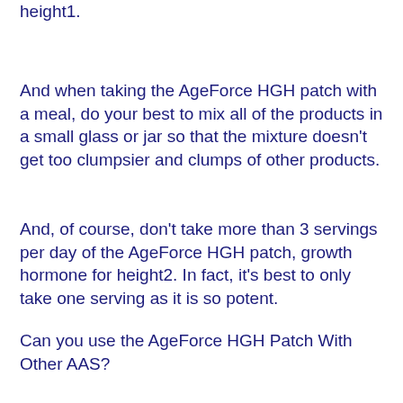height1.
And when taking the AgeForce HGH patch with a meal, do your best to mix all of the products in a small glass or jar so that the mixture doesn't get too clumpsier and clumps of other products.
And, of course, don't take more than 3 servings per day of the AgeForce HGH patch, growth hormone for height2. In fact, it's best to only take one serving as it is so potent.
Can you use the AgeForce HGH Patch With Other AAS?
To get maximum results, use it with:
A steroid that contains 5α-reductase inhibitors (i.e. anabolic steroids) or